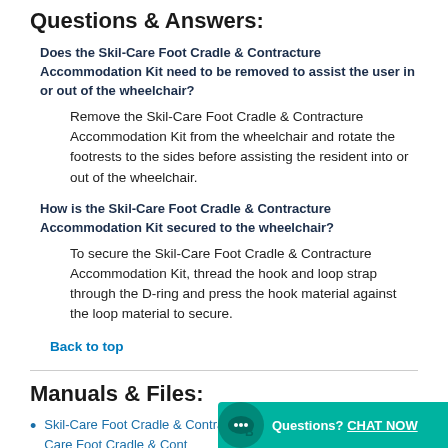Questions & Answers:
Does the Skil-Care Foot Cradle & Contracture Accommodation Kit need to be removed to assist the user in or out of the wheelchair?
Remove the Skil-Care Foot Cradle & Contracture Accommodation Kit from the wheelchair and rotate the footrests to the sides before assisting the resident into or out of the wheelchair.
How is the Skil-Care Foot Cradle & Contracture Accommodation Kit secured to the wheelchair?
To secure the Skil-Care Foot Cradle & Contracture Accommodation Kit, thread the hook and loop strap through the D-ring and press the hook material against the loop material to secure.
Back to top
Manuals & Files:
Skil-Care Foot Cradle & Contracture Accommodation Kit (Skil-Care Foot Cradle & Cont Cradle) IFU (081176809)